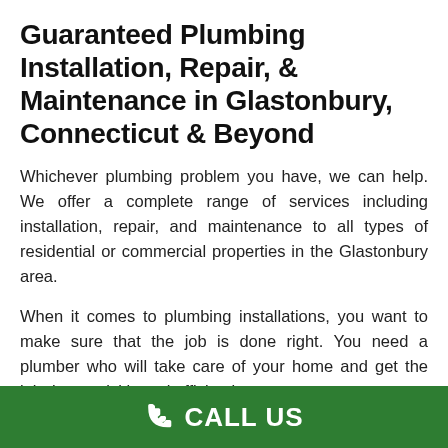Guaranteed Plumbing Installation, Repair, & Maintenance in Glastonbury, Connecticut & Beyond
Whichever plumbing problem you have, we can help. We offer a complete range of services including installation, repair, and maintenance to all types of residential or commercial properties in the Glastonbury area.
When it comes to plumbing installations, you want to make sure that the job is done right. You need a plumber who will take care of your home and get the job done quickly and efficiently.
Call our professional team now for any emergency plumbing issue
CALL US